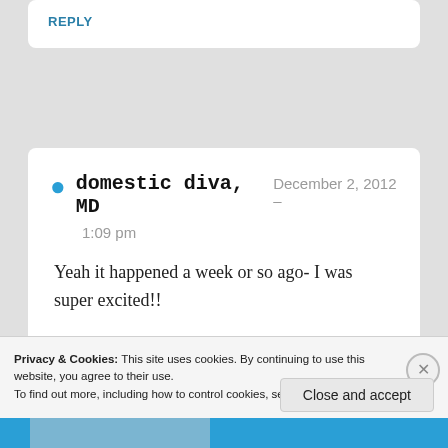REPLY
domestic diva, MD   December 2, 2012 —
1:09 pm
Yeah it happened a week or so ago- I was super excited!!
Privacy & Cookies: This site uses cookies. By continuing to use this website, you agree to their use.
To find out more, including how to control cookies, see here: Cookie Policy
Close and accept